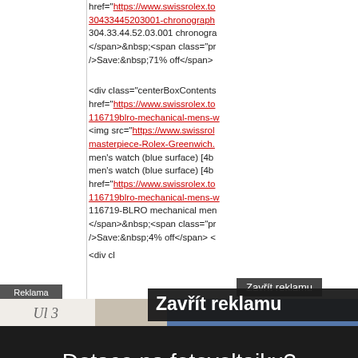href="https://www.swissrolex.to... 30433445203001-chronograph... 304.33.44.52.03.001 chronogra... </span>&nbsp;<span class="pr... />Save:&nbsp;71% off</span>
<div class="centerBoxContents... href="https://www.swissrolex.to... 116719blro-mechanical-mens-w... <img src="https://www.swissrol... masterpiece-Rolex-Greenwich.... men's watch (blue surface) [4b... men's watch (blue surface) [4b... href="https://www.swissrolex.to... 116719blro-mechanical-mens-w... 116719-BLRO mechanical men... </span>&nbsp;<span class="pr... />Save:&nbsp;4% off</span>...
Reklama
[Figure (screenshot): Advertisement banner with handwriting text on light background, a photo of a woman, a blue section, and dark section with 'Zavřit reklamu' overlay text]
Zavřit reklamu
Zavřit reklamu (large overlay)
Dotace na fotovoltaiku?
Jak velkou fotovoltaickou elektrárnu si můžete pořídit,
aby se vám vyplatila.